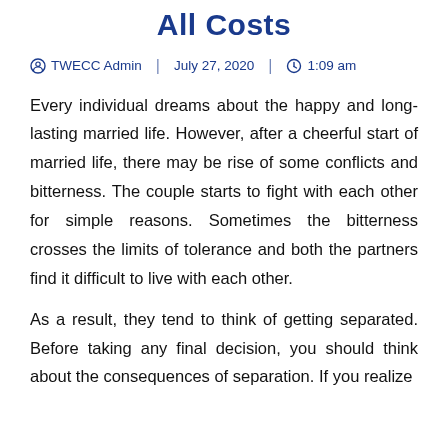All Costs
TWECC Admin | July 27, 2020 | 1:09 am
Every individual dreams about the happy and long-lasting married life. However, after a cheerful start of married life, there may be rise of some conflicts and bitterness. The couple starts to fight with each other for simple reasons. Sometimes the bitterness crosses the limits of tolerance and both the partners find it difficult to live with each other.
As a result, they tend to think of getting separated. Before taking any final decision, you should think about the consequences of separation. If you realize